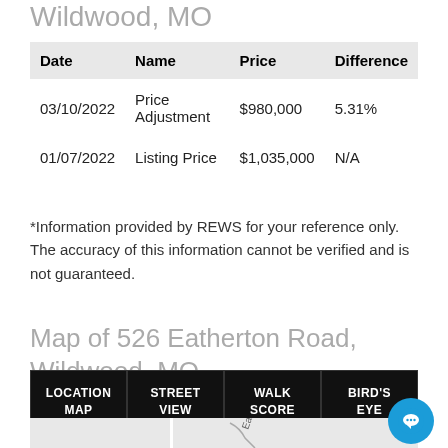Wildwood, MO
| Date | Name | Price | Difference |
| --- | --- | --- | --- |
| 03/10/2022 | Price Adjustment | $980,000 | 5.31% |
| 01/07/2022 | Listing Price | $1,035,000 | N/A |
*Information provided by REWS for your reference only. The accuracy of this information cannot be verified and is not guaranteed.
Map of 526 Eatherton Road, Wildwood, MO
| LOCATION MAP | STREET VIEW | WALK SCORE | BIRD'S EYE |
| --- | --- | --- | --- |
[Figure (map): Street map showing area around 526 Eatherton Road, Wildwood, MO with Eatherton road label visible]